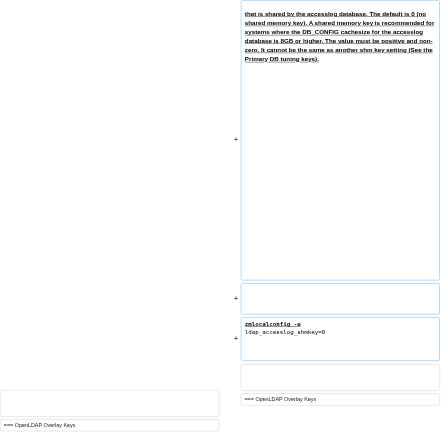that is shared by the accesslog database. The default is 0 (no shared memory key). A shared memory key is recommended for systems where the DB_CONFIG cachesize for the accesslog database is 8GB or higher. The value must be positive and non-zero. It cannot be the same as another shm key setting (See the Primary DB tuning keys).
zmlocalconfig -e
ldap_accesslog_shmkey=0
=== OpenLDAP Overlay Keys
=== OpenLDAP Overlay Keys